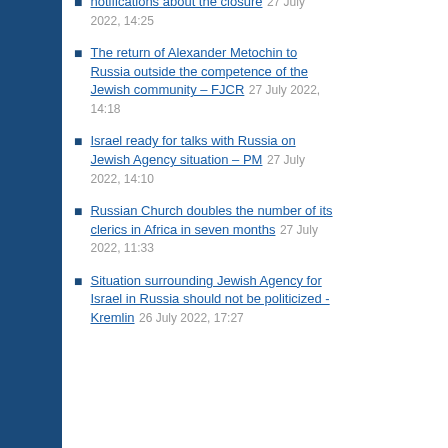notifications about the closure 27 July 2022, 14:25
The return of Alexander Metochin to Russia outside the competence of the Jewish community – FJCR 27 July 2022, 14:18
Israel ready for talks with Russia on Jewish Agency situation – PM 27 July 2022, 14:10
Russian Church doubles the number of its clerics in Africa in seven months 27 July 2022, 11:33
Situation surrounding Jewish Agency for Israel in Russia should not be politicized - Kremlin 26 July 2022, 17:27